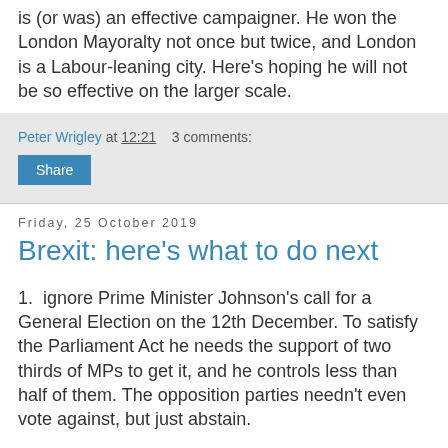is (or was) an effective campaigner.  He won the London Mayoralty not once but twice, and London is a Labour-leaning city.  Here's hoping he will not be so effective on the larger scale.
Peter Wrigley at 12:21    3 comments:
Share
Friday, 25 October 2019
Brexit: here's what to do next
1.  ignore Prime Minister Johnson's call for a General Election on the 12th December.  To satisfy the Parliament Act he needs the support of two thirds of MPs to get it, and he controls less than half of them.  The opposition parties needn't even vote against, but just abstain.